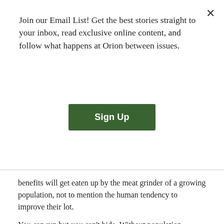Join our Email List! Get the best stories straight to your inbox, read exclusive online content, and follow what happens at Orion between issues.
Sign Up
benefits will get eaten up by the meat grinder of a growing population, not to mention the human tendency to improve their lot.
You can run but you can't hide. Without population reduction it is pretty much game over.
MORE TREES, LESS PEOPLE!
DARK EARTH on July 20, 2013
David M: capitalism requires a growing population to enable consumption (and profits) to increase, as this delusional